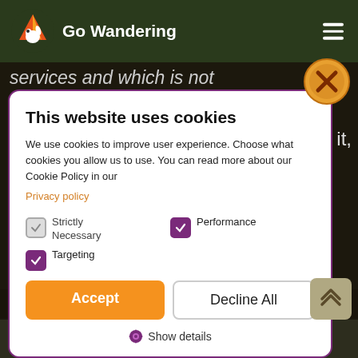Go Wandering
services and which is not
[Figure (screenshot): Cookie consent modal dialog with title 'This website uses cookies', descriptive text, Privacy policy link, checkboxes for Strictly Necessary, Performance, Targeting, Accept and Decline All buttons, and Show details link. Overlaid on Go Wandering website.]
HTML, XML, JavaScript, TypeScript, .NET and others Java and